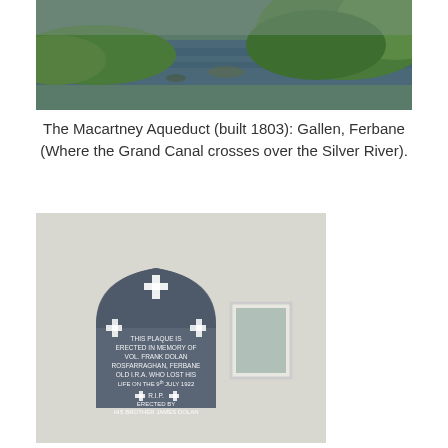[Figure (photo): Aerial or elevated view of the Macartney Aqueduct area showing a waterway and green grassy banks.]
The Macartney Aqueduct (built 1803): Gallen, Ferbane (Where the Grand Canal crosses over the Silver River).
[Figure (photo): A grey stone memorial plaque mounted on a white wall. The plaque reads: THIS PLAQUE IS ERECTED IN MEMORY OF VOL. FRANK DOLAN ROSFARRAGHAN, FERBANE OLD I.R.A. WHO LOST HIS LIFE ON THE 9th JULY 1922. R.I.P. ERECTED BY HIS BROTHER JAMES DOLAN. The plaque has cross decorations and is arched at the top.]